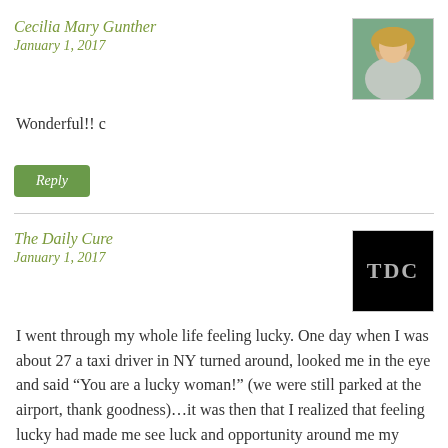Cecilia Mary Gunther
January 1, 2017
Wonderful!! c
Reply
The Daily Cure
January 1, 2017
I went through my whole life feeling lucky. One day when I was about 27 a taxi driver in NY turned around, looked me in the eye and said “You are a lucky woman!” (we were still parked at the airport, thank goodness)…it was then that I realized that feeling lucky had made me see luck and opportunity around me my entire life. I still feel that way, even when things are, well, shitty. There’s luck to be had in there somewhere!